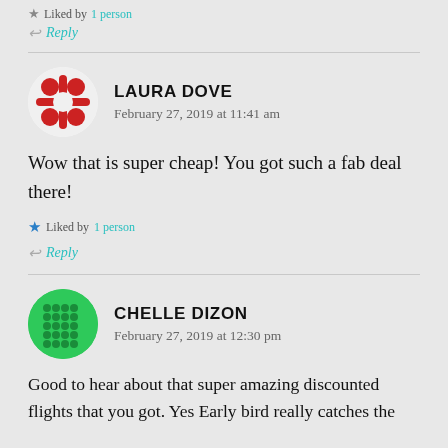Liked by 1 person
Reply
LAURA DOVE
February 27, 2019 at 11:41 am
Wow that is super cheap! You got such a fab deal there!
Liked by 1 person
Reply
CHELLE DIZON
February 27, 2019 at 12:30 pm
Good to hear about that super amazing discounted flights that you got. Yes Early bird really catches the